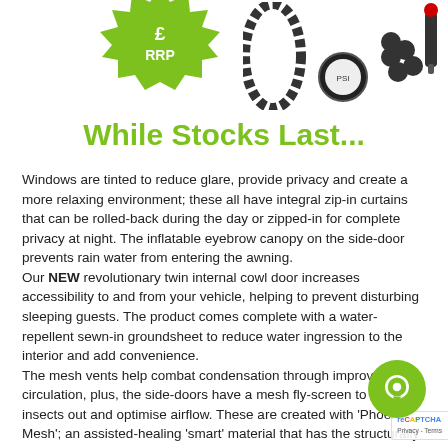[Figure (illustration): Green starburst/badge shape partially visible at top left, product images (hose, gauge accessories) at top right]
While Stocks Last...
Windows are tinted to reduce glare, provide privacy and create a more relaxing environment; these all have integral zip-in curtains that can be rolled-back during the day or zipped-in for complete privacy at night. The inflatable eyebrow canopy on the side-door prevents rain water from entering the awning.
Our NEW revolutionary twin internal cowl door increases accessibility to and from your vehicle, helping to prevent disturbing sleeping guests. The product comes complete with a water-repellent sewn-in groundsheet to reduce water ingression to the interior and add convenience.
The mesh vents help combat condensation through improving air-circulation, plus, the side-doors have a mesh fly-screen to keep insects out and optimise airflow. These are created with 'Phoenix Mesh'; an assisted-healing 'smart' material that has the structurally incorporated ability to repair 'snag' damage caused by continual usage. Simply manipulated, the mesh will return to its original...
The awning comes complete with three clip-on 'Endurance Guy Straps' and Pegs. The optional "Movelite Canopy" (to extend living